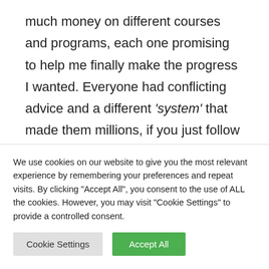much money on different courses and programs, each one promising to help me finally make the progress I wanted. Everyone had conflicting advice and a different 'system' that made them millions, if you just follow their advice. There's no one perfect system or approach that suits every business
We use cookies on our website to give you the most relevant experience by remembering your preferences and repeat visits. By clicking "Accept All", you consent to the use of ALL the cookies. However, you may visit "Cookie Settings" to provide a controlled consent.